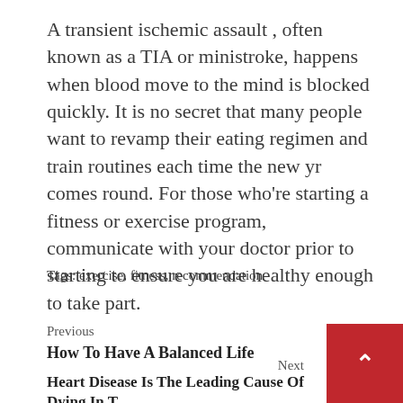A transient ischemic assault , often known as a TIA or ministroke, happens when blood move to the mind is blocked quickly. It is no secret that many people want to revamp their eating regimen and train routines each time the new yr comes round. For those who're starting a fitness or exercise program, communicate with your doctor prior to starting to ensure you are healthy enough to take part.
Tags: exercise, fitness, recommendation
Previous
How To Have A Balanced Life
Next
Heart Disease Is The Leading Cause Of Dying In T… — Here's H…